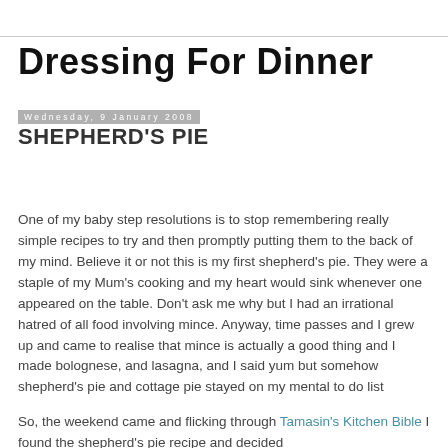Dressing For Dinner
Wednesday, 9 January 2008
SHEPHERD'S PIE
One of my baby step resolutions is to stop remembering really simple recipes to try and then promptly putting them to the back of my mind. Believe it or not this is my first shepherd's pie. They were a staple of my Mum's cooking and my heart would sink whenever one appeared on the table. Don't ask me why but I had an irrational hatred of all food involving mince. Anyway, time passes and I grew up and came to realise that mince is actually a good thing and I made bolognese, and lasagna, and I said yum but somehow shepherd's pie and cottage pie stayed on my mental to do list
So, the weekend came and flicking through Tamasin's Kitchen Bible I found the shepherd's pie recipe and decided